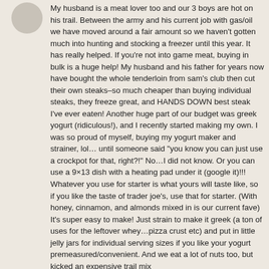[Figure (illustration): Partial avatar/profile picture circle, light gray, partially cropped at top-left]
My husband is a meat lover too and our 3 boys are hot on his trail. Between the army and his current job with gas/oil we have moved around a fair amount so we haven't gotten much into hunting and stocking a freezer until this year. It has really helped. If you're not into game meat, buying in bulk is a huge help! My husband and his father for years now have bought the whole tenderloin from sam's club then cut their own steaks–so much cheaper than buying individual steaks, they freeze great, and HANDS DOWN best steak I've ever eaten! Another huge part of our budget was greek yogurt (ridiculous!), and I recently started making my own. I was so proud of myself, buying my yogurt maker and strainer, lol… until someone said "you know you can just use a crockpot for that, right?!" No…I did not know. Or you can use a 9×13 dish with a heating pad under it (google it)!!! Whatever you use for starter is what yours will taste like, so if you like the taste of trader joe's, use that for starter. (With honey, cinnamon, and almonds mixed in is our current fave) It's super easy to make! Just strain to make it greek (a ton of uses for the leftover whey…pizza crust etc) and put in little jelly jars for individual serving sizes if you like your yogurt premeasured/convenient. And we eat a lot of nuts too, but kicked an expensive trail mix